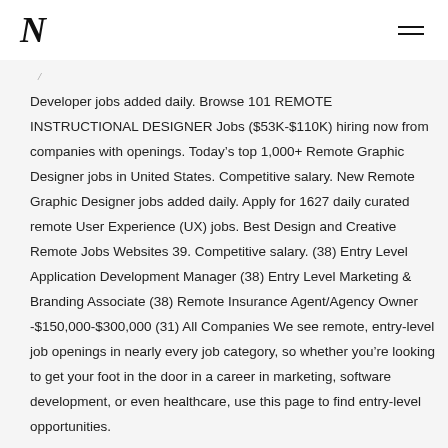N
Developer jobs added daily. Browse 101 REMOTE INSTRUCTIONAL DESIGNER Jobs ($53K-$110K) hiring now from companies with openings. Today's top 1,000+ Remote Graphic Designer jobs in United States. Competitive salary. New Remote Graphic Designer jobs added daily. Apply for 1627 daily curated remote User Experience (UX) jobs. Best Design and Creative Remote Jobs Websites 39. Competitive salary. (38) Entry Level Application Development Manager (38) Entry Level Marketing & Branding Associate (38) Remote Insurance Agent/Agency Owner -$150,000-$300,000 (31) All Companies We see remote, entry-level job openings in nearly every job category, so whether you're looking to get your foot in the door in a career in marketing, software development, or even healthcare, use this page to find entry-level opportunities.